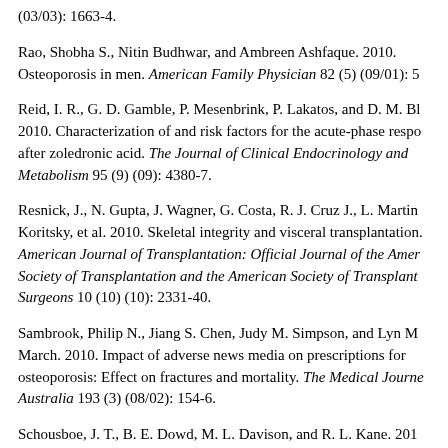(03/03): 1663-4.
Rao, Shobha S., Nitin Budhwar, and Ambreen Ashfaque. 2010. Osteoporosis in men. American Family Physician 82 (5) (09/01): 5
Reid, I. R., G. D. Gamble, P. Mesenbrink, P. Lakatos, and D. M. Bl 2010. Characterization of and risk factors for the acute-phase respo after zoledronic acid. The Journal of Clinical Endocrinology and Metabolism 95 (9) (09): 4380-7.
Resnick, J., N. Gupta, J. Wagner, G. Costa, R. J. Cruz J., L. Martin Koritsky, et al. 2010. Skeletal integrity and visceral transplantation. American Journal of Transplantation: Official Journal of the Amer Society of Transplantation and the American Society of Transplant Surgeons 10 (10) (10): 2331-40.
Sambrook, Philip N., Jiang S. Chen, Judy M. Simpson, and Lyn M March. 2010. Impact of adverse news media on prescriptions for osteoporosis: Effect on fractures and mortality. The Medical Journe Australia 193 (3) (08/02): 154-6.
Schousboe, J. T., B. E. Dowd, M. L. Davison, and R. L. Kane. 201 Association of medication attitudes with non-persistence and non-compliance with medication to prevent fractures. Osteoporosis International: A Journal Established as Result of Cooperation betw the European Foundation for Osteoporosis and the National